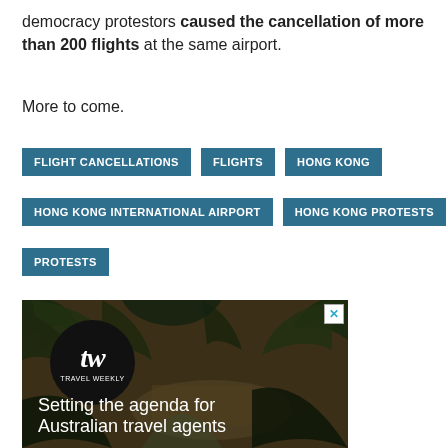democracy protestors caused the cancellation of more than 200 flights at the same airport.
More to come.
FLIGHT CANCELLATIONS
FLIGHTS
HONG KONG
HONG KONG INTERNATIONAL AIRPORT
HONG KONG PROTESTS
PROTESTS
[Figure (illustration): Travel Weekly advertisement showing a tropical jungle with a river scene and a circular black logo with 'tw TRAVEL WEEKLY' text. Caption reads 'Setting the agenda for Australian travel agents']